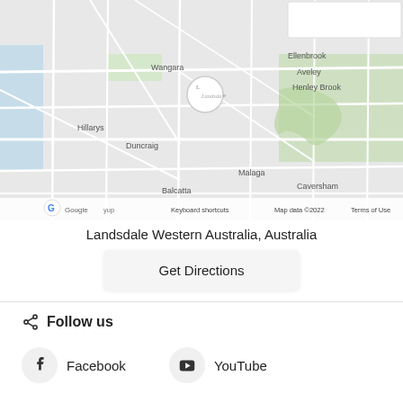[Figure (map): Google Maps screenshot showing Landsdale, Western Australia area with surrounding suburbs: Hillarys, Wangara, Duncraig, Balcatta, Malaga, Caversham, Ellenbrook, Aveley, Henley Brook. A location pin/marker is shown for Landsdale. Map attribution: Keyboard shortcuts, Map data ©2022, Terms of Use.]
Landsdale Western Australia, Australia
Get Directions
Follow us
Facebook
YouTube